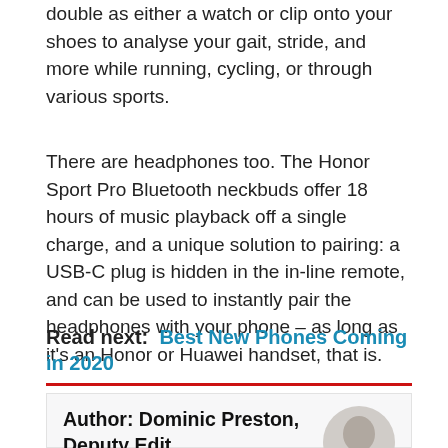double as either a watch or clip onto your shoes to analyse your gait, stride, and more while running, cycling, or through various sports.
There are headphones too. The Honor Sport Pro Bluetooth neckbuds offer 18 hours of music playback off a single charge, and a unique solution to pairing: a USB-C plug is hidden in the in-line remote, and can be used to instantly pair the headphones with your phone – as long as it's an Honor or Huawei handset, that is.
Read next:  Best New Phones Coming in 2020
Author: Dominic Preston, Deputy Edit...